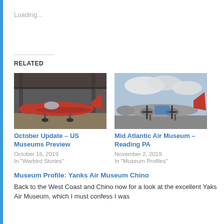Loading...
RELATED
[Figure (photo): Red propeller aircraft inside a hangar, viewed from the side]
October Update – US Museums Preview
October 16, 2019
In "Warbird Stories"
[Figure (photo): Vintage propeller aircraft with red tail outdoors under cloudy sky]
Mid Atlantic Air Museum – Reading PA
November 2, 2019
In "Museum Profiles"
Museum Profile: Yanks Air Museum Chino
Back to the West Coast and Chino now for a look at the excellent Yaks Air Museum, which I must confess I was